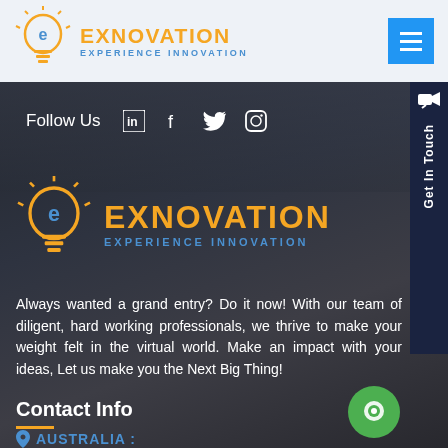[Figure (logo): Exnovation logo with lightbulb icon and text EXNOVATION EXPERIENCE INNOVATION in header]
[Figure (logo): Hamburger menu button (blue square with three white lines)]
Follow Us
[Figure (illustration): Social media icons: LinkedIn, Facebook, Twitter, Instagram]
[Figure (logo): Exnovation logo large in dark section with lightbulb icon, EXNOVATION in orange, EXPERIENCE INNOVATION in blue]
Always wanted a grand entry? Do it now! With our team of diligent, hard working professionals, we thrive to make your weight felt in the virtual world. Make an impact with your ideas, Let us make you the Next Big Thing!
Contact Info
AUSTRALIA :
[Figure (illustration): Get In Touch sidebar button on the right side]
[Figure (illustration): Green chat bubble icon bottom right]